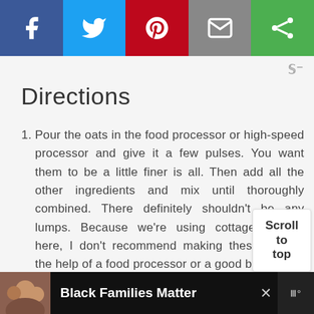[Figure (infographic): Social share bar with Facebook (blue), Twitter (light blue), Pinterest (red), Email (grey), and a green share icon button]
Directions
Pour the oats in the food processor or high-speed processor and give it a few pulses. You want them to be a little finer is all. Then add all the other ingredients and mix until thoroughly combined. There definitely shouldn't be any lumps. Because we're using cottage cheese here, I don't recommend making these without the help of a food processor or a good blender.
[Figure (infographic): Scroll to top button on bottom right]
[Figure (infographic): Ad banner at bottom: Black Families Matter with photo]